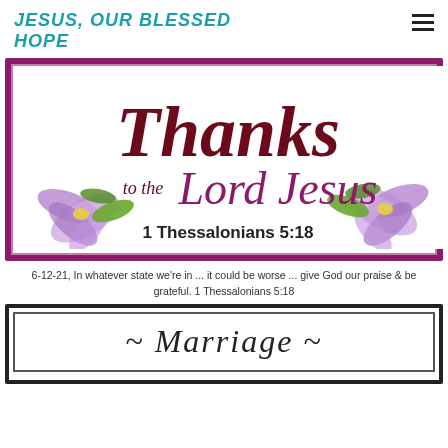JESUS, OUR BLESSED HOPE
[Figure (illustration): Decorative religious image with cursive text 'Thanks to the Lord Jesus' in dark red/maroon on white background with purple flowers, framed in purple border. Scripture reference '1 Thessalonians 5:18' in bold dark text.]
6-12-21, In whatever state we're in ... it could be worse ... give God our praise & be grateful. 1 Thessalonians 5:18
[Figure (illustration): Decorative image with cursive text '~ Marriage ~' in dark italic script on white background with double black border frame.]